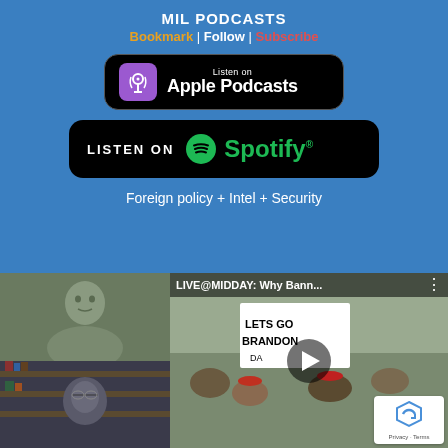MIL PODCASTS
Bookmark | Follow | Subscribe
[Figure (logo): Listen on Apple Podcasts button - black rounded rectangle with purple podcast icon and white text]
[Figure (logo): Listen on Spotify button - black rounded rectangle with green Spotify logo and text]
Foreign policy + Intel + Security
[Figure (screenshot): Video thumbnail showing two people on the left and a crowd with Let's Go Brandon sign on right, with title LIVE@MIDDAY: Why Bann... and play button overlay]